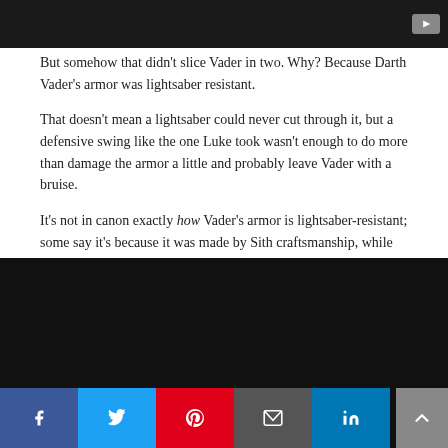[Figure (screenshot): Dark video player thumbnail with YouTube icon in top-right corner]
But somehow that didn't slice Vader in two. Why? Because Darth Vader's armor was lightsaber resistant.
That doesn't mean a lightsaber could never cut through it, but a defensive swing like the one Luke took wasn't enough to do more than damage the armor a little and probably leave Vader with a bruise.
It's not in canon exactly how Vader's armor is lightsaber-resistant; some say it's because it was made by Sith craftsmanship, while others point to myths regarding the supposed indestructibility of Vader's gloves and suppose the armor is made of similar materials.
On to example two!
[Figure (screenshot): Dark video player thumbnail at bottom of page]
[Figure (infographic): Social sharing bar with Facebook, Twitter, Pinterest, Email, and LinkedIn buttons, and a back-to-top arrow button]